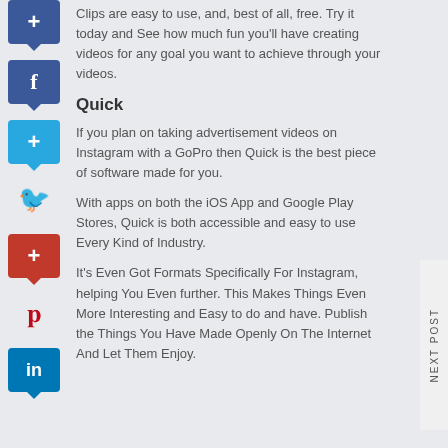Clips are easy to use, and, best of all, free. Try it today and See how much fun you'll have creating videos for any goal you want to achieve through your videos.
Quick
If you plan on taking advertisement videos on Instagram with a GoPro then Quick is the best piece of software made for you.
With apps on both the iOS App and Google Play Stores, Quick is both accessible and easy to use Every Kind of Industry.
It's Even Got Formats Specifically For Instagram, helping You Even further. This Makes Things Even More Interesting and Easy to do and have. Publish the Things You Have Made Openly On The Internet And Let Them Enjoy.